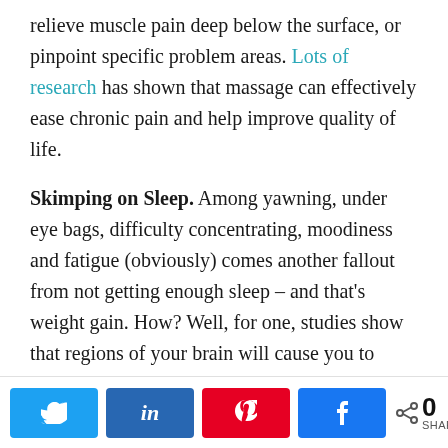relieve muscle pain deep below the surface, or pinpoint specific problem areas. Lots of research has shown that massage can effectively ease chronic pain and help improve quality of life.
Skimping on Sleep. Among yawning, under eye bags, difficulty concentrating, moodiness and fatigue (obviously) comes another fallout from not getting enough sleep – and that's weight gain. How? Well, for one, studies show that regions of your brain will cause you to crave more “comfort” foods (as in chips and cookies) than “healthy” ones (as in carrot sticks
Social share buttons: Twitter, LinkedIn, Pinterest, Facebook | 0 SHARES